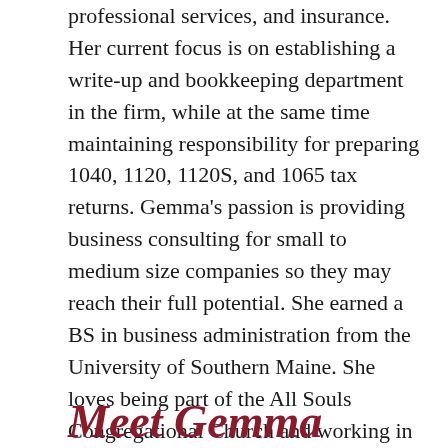professional services, and insurance. Her current focus is on establishing a write-up and bookkeeping department in the firm, while at the same time maintaining responsibility for preparing 1040, 1120, 1120S, and 1065 tax returns. Gemma's passion is providing business consulting for small to medium size companies so they may reach their full potential. She earned a BS in business administration from the University of Southern Maine. She loves being part of the All Souls Congregational Church and working in several of the local non-profit sports organizations. In her spare time, she enjoys golfing, gardening, reading, knitting and spending time with her family.
Meet Gemma